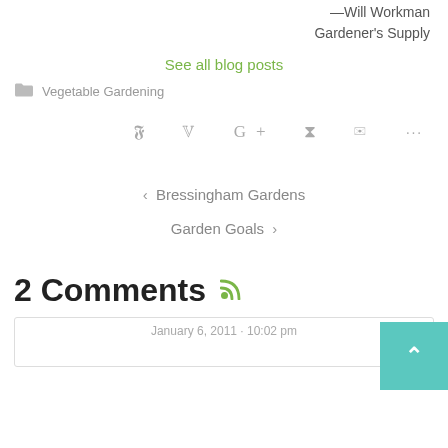—Will Workman
Gardener's Supply
See all blog posts
Vegetable Gardening
Social share icons
< Bressingham Gardens
Garden Goals >
2 Comments
January 6, 2011 · 10:02 pm